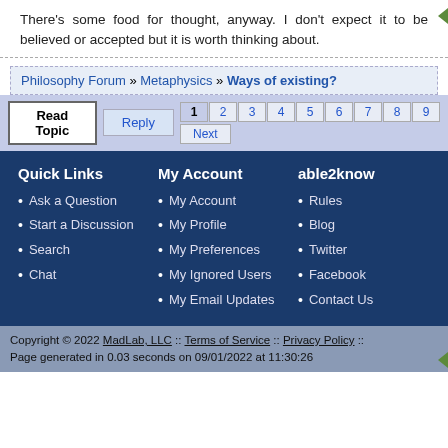There's some food for thought, anyway. I don't expect it to be believed or accepted but it is worth thinking about.
Philosophy Forum » Metaphysics » Ways of existing?
Read Topic   Reply   1 2 3 4 5 6 7 8 9   Next
Quick Links
Ask a Question
Start a Discussion
Search
Chat
My Account
My Account
My Profile
My Preferences
My Ignored Users
My Email Updates
able2know
Rules
Blog
Twitter
Facebook
Contact Us
Copyright © 2022 MadLab, LLC :: Terms of Service :: Privacy Policy :: Page generated in 0.03 seconds on 09/01/2022 at 11:30:26